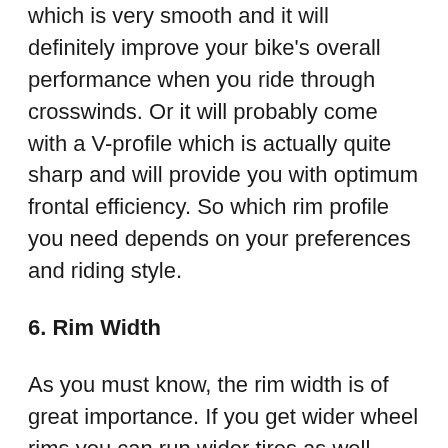which is very smooth and it will definitely improve your bike's overall performance when you ride through crosswinds. Or it will probably come with a V-profile which is actually quite sharp and will provide you with optimum frontal efficiency. So which rim profile you need depends on your preferences and riding style.
6. Rim Width
As you must know, the rim width is of great importance. If you get wider wheel rims you can run wider tires as well.